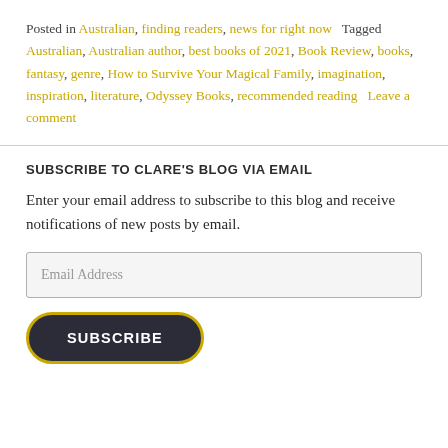Posted in Australian, finding readers, news for right now   Tagged Australian, Australian author, best books of 2021, Book Review, books, fantasy, genre, How to Survive Your Magical Family, imagination, inspiration, literature, Odyssey Books, recommended reading   Leave a comment
SUBSCRIBE TO CLARE'S BLOG VIA EMAIL
Enter your email address to subscribe to this blog and receive notifications of new posts by email.